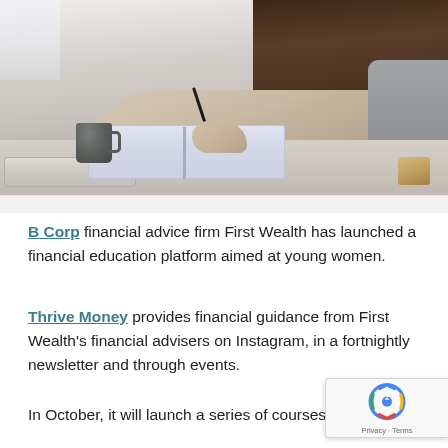[Figure (photo): A young woman sitting at a desk writing in a notebook with a pen. A dark grey coffee mug and a closed laptop are visible on the desk. A plant is in the background. The setting appears to be a study or home office environment.]
B Corp financial advice firm First Wealth has launched a financial education platform aimed at young women.
Thrive Money provides financial guidance from First Wealth's financial advisers on Instagram, in a fortnightly newsletter and through events.
In October, it will launch a series of courses. The course on the fundamentals of finance will comprise